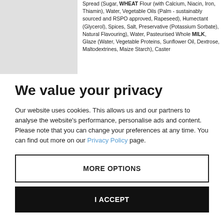[Figure (photo): Product image placeholder (grey rectangle)]
Spread (Sugar, WHEAT Flour (with Calcium, Niacin, Iron, Thiamin), Water, Vegetable Oils (Palm - sustainably sourced and RSPO approved, Rapeseed), Humectant (Glycerol), Spices, Salt, Preservative (Potassium Sorbate), Natural Flavouring), Water, Pasteurised Whole MILK, Glaze (Water, Vegetable Proteins, Sunflower Oil, Dextrose, Maltodextrines, Maize Starch), Caster
We value your privacy
Our website uses cookies. This allows us and our partners to analyse the website's performance, personalise ads and content. Please note that you can change your preferences at any time. You can find out more on our Privacy Policy page.
MORE OPTIONS
I ACCEPT